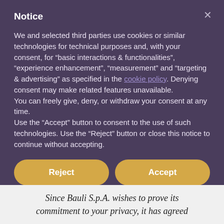Notice
We and selected third parties use cookies or similar technologies for technical purposes and, with your consent, for “basic interactions & functionalities”, “experience enhancement”, “measurement” and “targeting & advertising” as specified in the cookie policy. Denying consent may make related features unavailable.
You can freely give, deny, or withdraw your consent at any time.
Use the “Accept” button to consent to the use of such technologies. Use the “Reject” button or close this notice to continue without accepting.
Reject
Accept
Learn more and customize
Since Bauli S.p.A. wishes to prove its commitment to your privacy, it has agreed